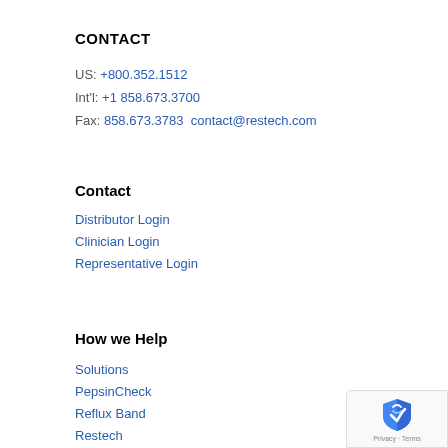CONTACT
US: +800.352.1512
Int'l: +1 858.673.3700
Fax: 858.673.3783  contact@restech.com
Contact
Distributor Login
Clinician Login
Representative Login
How we Help
Solutions
PepsinCheck
Reflux Band
Restech
Stretta
Secca
[Figure (other): reCAPTCHA privacy badge in bottom-right corner]